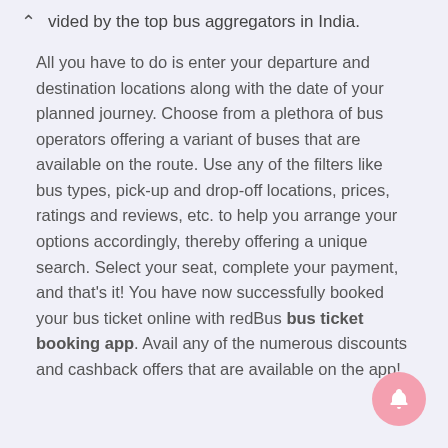vided by the top bus aggregators in India.
All you have to do is enter your departure and destination locations along with the date of your planned journey. Choose from a plethora of bus operators offering a variant of buses that are available on the route. Use any of the filters like bus types, pick-up and drop-off locations, prices, ratings and reviews, etc. to help you arrange your options accordingly, thereby offering a unique search. Select your seat, complete your payment, and that's it! You have now successfully booked your bus ticket online with redBus bus ticket booking app. Avail any of the numerous discounts and cashback offers that are available on the app!